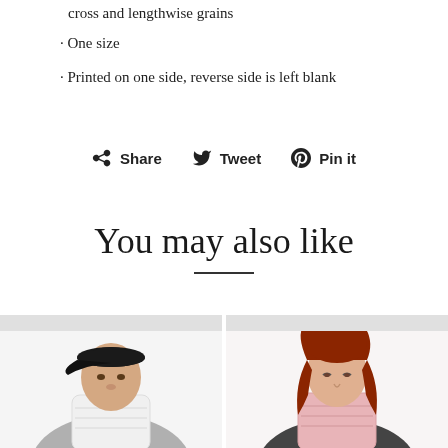cross and lengthwise grains
· One size
· Printed on one side, reverse side is left blank
Share   Tweet   Pin it
You may also like
[Figure (photo): Man wearing a white neck gaiter/face covering and black baseball cap, gray shirt]
[Figure (photo): Woman with red hair wearing a light pink neck gaiter/face covering, dark shirt]